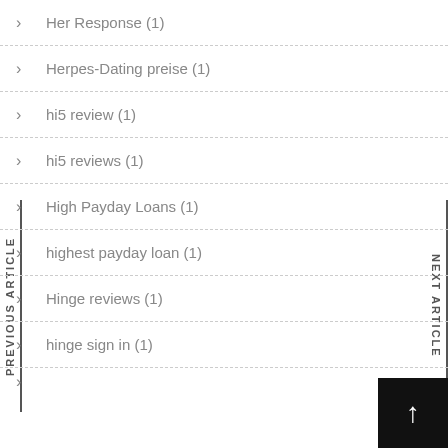Her Response (1)
Herpes-Dating preise (1)
hi5 review (1)
hi5 reviews (1)
High Payday Loans (1)
highest payday loan (1)
Hinge reviews (1)
hinge sign in (1)